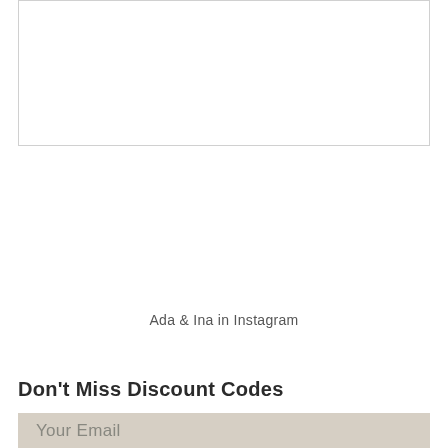[Figure (other): White empty box with thin border, partial content area]
Ada & Ina in Instagram
Don't Miss Discount Codes
Your Email